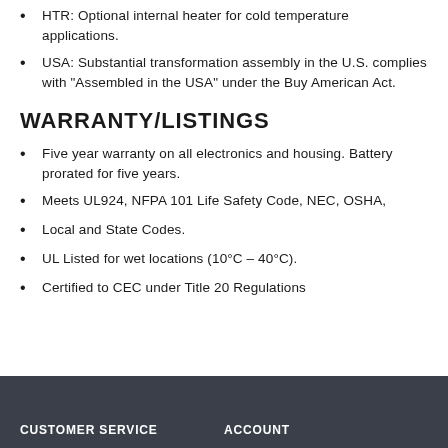HTR: Optional internal heater for cold temperature applications.
USA: Substantial transformation assembly in the U.S. complies with "Assembled in the USA" under the Buy American Act.
WARRANTY/LISTINGS
Five year warranty on all electronics and housing. Battery prorated for five years.
Meets UL924, NFPA 101 Life Safety Code, NEC, OSHA,
Local and State Codes.
UL Listed for wet locations (10°C – 40°C).
Certified to CEC under Title 20 Regulations
CUSTOMER SERVICE    ACCOUNT